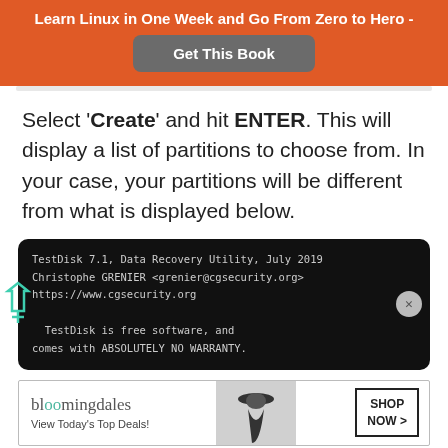Learn Linux in One Week and Go From Zero to Hero -
Get This Book
Select 'Create' and hit ENTER. This will display a list of partitions to choose from. In your case, your partitions will be different from what is displayed below.
[Figure (screenshot): Terminal window showing TestDisk 7.1 Data Recovery Utility output with copyright info and warranty disclaimer]
[Figure (other): Bloomingdale's advertisement - View Today's Top Deals! with SHOP NOW button and model photo]